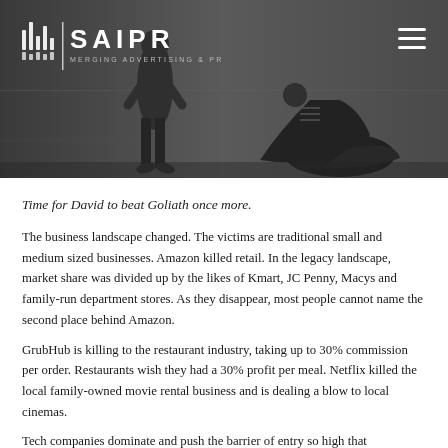[Figure (photo): Dark moody photo of two people in a standoff pose against a gray concrete background, with the SAIPR logo (bar chart icon and text 'SAIPR MERGING ADVERTISING & PR') in the top left and a hamburger menu icon in the top right.]
Time for David to beat Goliath once more.
The business landscape changed. The victims are traditional small and medium sized businesses. Amazon killed retail. In the legacy landscape, market share was divided up by the likes of Kmart, JC Penny, Macys and family-run department stores. As they disappear, most people cannot name the second place behind Amazon.
GrubHub is killing to the restaurant industry, taking up to 30% commission per order. Restaurants wish they had a 30% profit per meal. Netflix killed the local family-owned movie rental business and is dealing a blow to local cinemas.
Tech companies dominate and push the barrier of entry so high that